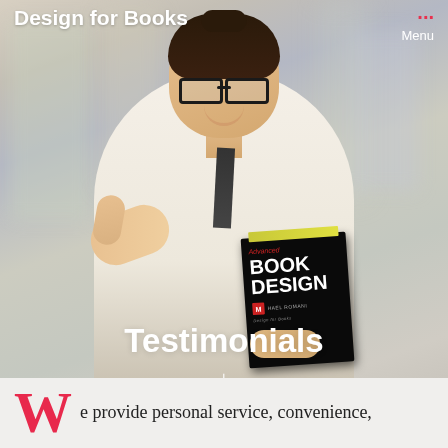Design for Books   ··· Menu
[Figure (photo): Woman with glasses in white shirt and dark tie giving thumbs up, holding a black book titled 'Advanced Book Design' by Michael N. Romani, blurred office background]
Testimonials
↓
We provide personal service, convenience,